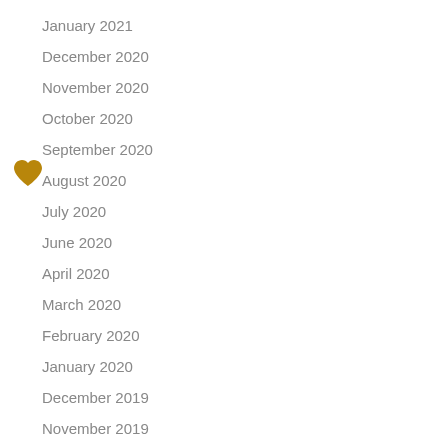January 2021
December 2020
November 2020
October 2020
September 2020
August 2020
July 2020
June 2020
April 2020
March 2020
February 2020
January 2020
December 2019
November 2019
October 2019